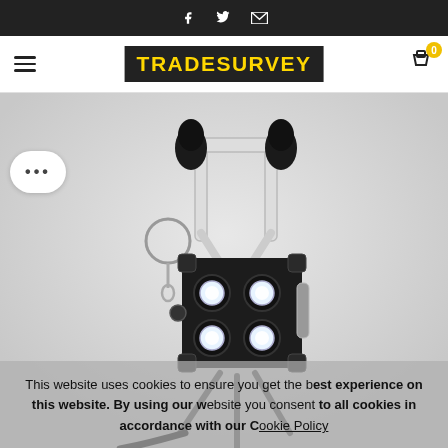Social media links: Facebook, Twitter, Email
[Figure (logo): TradeSurvey logo with black background and yellow text, hamburger menu on left, shopping cart with 0 badge on right]
[Figure (photo): LED work light with white metal frame/handle, black protective foam on handle ends, 4-LED array in a 2x2 grid, black body with mounting hardware, carabiner clip on side, mounted on tripod stand. Gray background.]
This website uses cookies to ensure you get the best experience on this website. By using our website you consent to all cookies in accordance with our Cookie Policy